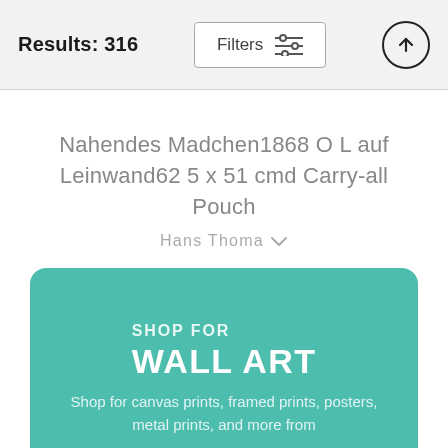Results: 316
Nahendes Madchen1868 O L auf Leinwand62 5 x 51 cmd Carry-all Pouch
Hans Thoma
$26
SHOP FOR WALL ART
Shop for canvas prints, framed prints, posters, metal prints, and more from